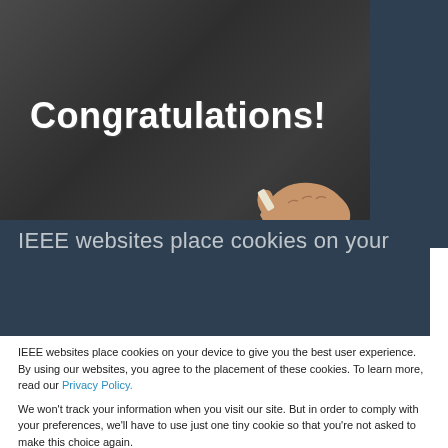[Figure (photo): Chalkboard with 'Congratulations!' written in white bold text, with a hand holding chalk in the lower right corner.]
IEEE websites place cookies on your device to give you the best user experience. By using our websites, you agree to the placement of these cookies. To learn more, read our Privacy Policy.
We won't track your information when you visit our site. But in order to comply with your preferences, we'll have to use just one tiny cookie so that you're not asked to make this choice again.
Accept
Decline